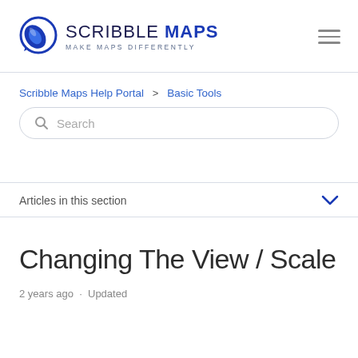[Figure (logo): Scribble Maps logo with pen icon and tagline MAKE MAPS DIFFERENTLY]
Scribble Maps Help Portal > Basic Tools
Search
Articles in this section
Changing The View / Scale
2 years ago · Updated